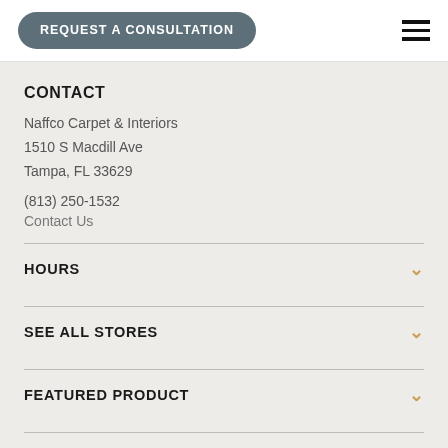REQUEST A CONSULTATION
CONTACT
Naffco Carpet & Interiors
1510 S Macdill Ave
Tampa, FL 33629
(813) 250-1532
Contact Us
HOURS
SEE ALL STORES
FEATURED PRODUCT
PREMIER PRODUCTS